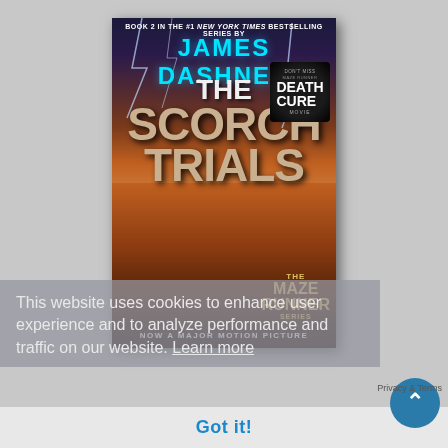[Figure (illustration): Book cover of 'The Scorch Trials' by James Dashner. Book 2 in the #1 New York Times bestselling series. Shows dramatic sky with lightning, desert ruins background, large cracked stone lettering for the title, Maze Runner Series badge bottom right, 'Now a Major Motion Picture' at bottom, and a 'Don't Miss Death Cure Movie' badge top right.]
This website uses cookies to enhance user experience and to analyze performance and traffic on our website. Learn more
Got it!